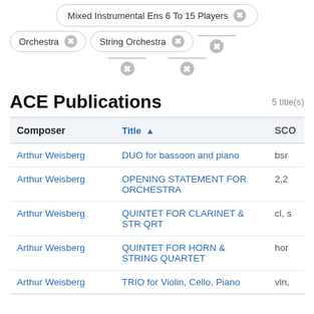[Figure (screenshot): UI filter tags: Mixed Instrumental Ens 6 To 15 Players, Orchestra, String Orchestra, and two truncated/placeholder tags with close buttons]
ACE Publications
5 title(s)
| Composer | Title ▲ | SCO |
| --- | --- | --- |
| Arthur Weisberg | DUO for bassoon and piano | bsr |
| Arthur Weisberg | OPENING STATEMENT FOR ORCHESTRA | 2,2 |
| Arthur Weisberg | QUINTET FOR CLARINET & STR QRT | cl, s |
| Arthur Weisberg | QUINTET FOR HORN & STRING QUARTET | hor |
| Arthur Weisberg | TRIO for Violin, Cello, Piano | vln, |